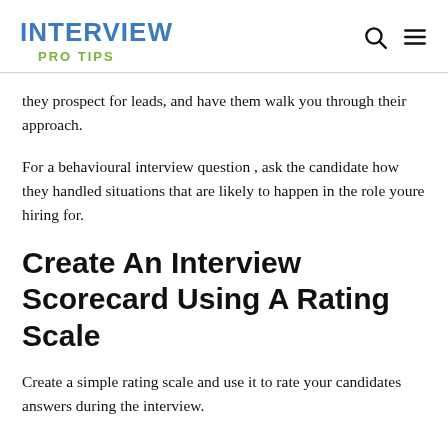INTERVIEW
PRO TIPS
they prospect for leads, and have them walk you through their approach.
For a behavioural interview question , ask the candidate how they handled situations that are likely to happen in the role youre hiring for.
Create An Interview Scorecard Using A Rating Scale
Create a simple rating scale and use it to rate your candidates answers during the interview.